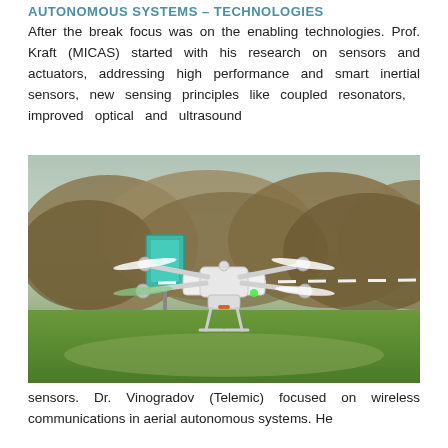AUTONOMOUS SYSTEMS – TECHNOLOGIES
After the break focus was on the enabling technologies. Prof. Kraft (MICAS) started with his research on sensors and actuators, addressing high performance and smart inertial sensors, new sensing principles like coupled resonators, improved optical and ultrasound
[Figure (photo): A white quadcopter drone (DJI Phantom style) hovering low over a grass field, with trees and a green sign in the background. A dashed white line and a ground path are visible.]
sensors. Dr. Vinogradov (Telemic) focused on wireless communications in aerial autonomous systems. He